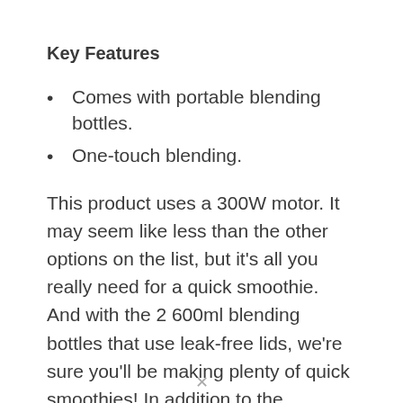Key Features
Comes with portable blending bottles.
One-touch blending.
This product uses a 300W motor. It may seem like less than the other options on the list, but it’s all you really need for a quick smoothie. And with the 2 600ml blending bottles that use leak-free lids, we’re sure you’ll be making plenty of quick smoothies! In addition to the convenient bottles, this product also has